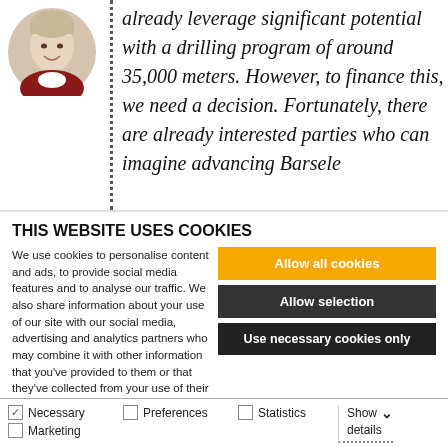[Figure (photo): Circular avatar photo of a person (portrait, partially visible)]
already leverage significant potential with a drilling program of around 35,000 meters. However, to finance this, we need a decision. Fortunately, there are already interested parties who can imagine advancing Barsele
THIS WEBSITE USES COOKIES
We use cookies to personalise content and ads, to provide social media features and to analyse our traffic. We also share information about your use of our site with our social media, advertising and analytics partners who may combine it with other information that you've provided to them or that they've collected from your use of their services.
Allow all cookies
Allow selection
Use necessary cookies only
Necessary  Preferences  Statistics  Show details  Marketing